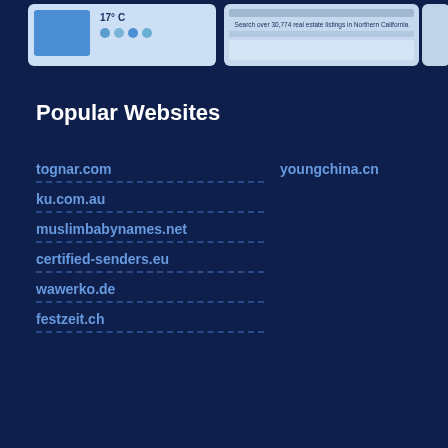[Figure (screenshot): Two website screenshot thumbnails at the top, one showing a weather widget with 17° C, another showing a real estate listing search page for Northern California, and a partial third screenshot.]
Popular Websites
tognar.com
ku.com.au
muslimbabynames.net
certified-senders.eu
wawerko.de
festzeit.ch
youngchina.cn